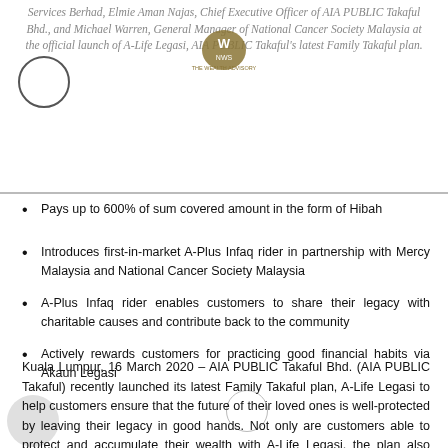Services Berhad, Elmie Aman Najas, Chief Executive Officer of AIA PUBLIC Takaful Bhd., and Michael Warren, General Manager of National Cancer Society Malaysia at the official launch of A-Life Legasi, AIA PUBLIC Takaful's latest Family Takaful plan.
Pays up to 600% of sum covered amount in the form of Hibah
Introduces first-in-market A-Plus Infaq rider in partnership with Mercy Malaysia and National Cancer Society Malaysia
A-Plus Infaq rider enables customers to share their legacy with charitable causes and contribute back to the community
Actively rewards customers for practicing good financial habits via Akaun Legasi
Kuala Lumpur, 16 March 2020 – AIA PUBLIC Takaful Bhd. (AIA PUBLIC Takaful) recently launched its latest Family Takaful plan, A-Life Legasi to help customers ensure that the future of their loved ones is well-protected by leaving their legacy in good hands. Not only are customers able to protect and accumulate their wealth with A-Life Legasi, the plan also provides an avenue for them to contribute back to the community by sharing their legacy with a